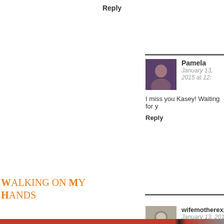Reply
Pamela
January 13, 2015 at 12:
I miss you Kasey! Waiting for y
Reply
Walking on My Hands
wifemotherexpletive
January 13, 2015 at 10:00 am
Privacy & Cookies: This site uses cookies. By continuing to use this website, you agree to their use.
To find out more, including how to control cookies, see here: Cookie Policy
Close and accept